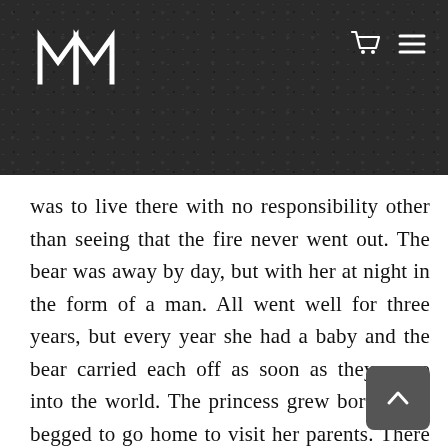MMM [logo] [cart icon] [menu icon]
was to live there with no responsibility other than seeing that the fire never went out. The bear was away by day, but with her at night in the form of a man. All went well for three years, but every year she had a baby and the bear carried each off as soon as they came into the world. The princess grew bored, and begged to go home to visit her parents. There was no stopping her, but the bear made her give her word that she would listen to her father and not do what her mother wished. So she went home, and when she